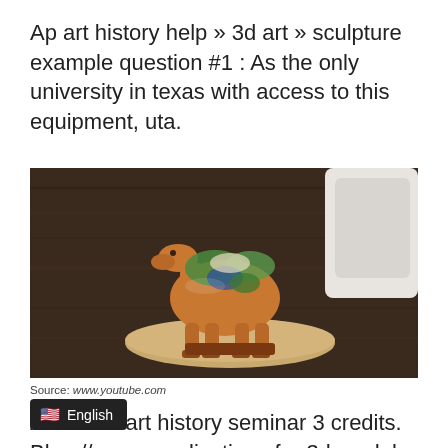Ap art history help » 3d art » sculpture example question #1 : As the only university in texas with access to this equipment, uta.
[Figure (photo): A glazed ceramic camel figurine with brown, green, and blue glaze, placed on a round wooden turntable on a dark wood-grain desk. A white device is visible in the upper right corner.]
Source: www.youtube.com
Arh 4031 art history seminar 3 credits. Blog // [overlaid: English flag] plications for 3d models in art